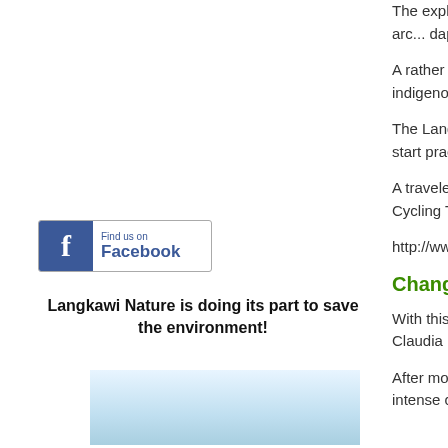The explorers' final stop was at a traditional Malay arc... dapur (kitchen).
A rather symbolic ch... explore all her flavou... indigenous herbs an...
The Langkawi Featu... channels at the begi... time to start practicin...
A traveler planning a... Langkawi? Follow th... Cycling Trip with De...
http://www.langkawi-...
Change of own...
With this last colum... that Dev's Adventure... Miss Claudia Muelle... wealth of experience...
After more than nine... things that life has to... intense chapter in m...
[Figure (logo): Find us on Facebook badge with blue Facebook logo]
Langkawi Nature is doing its part to save the environment!
[Figure (photo): Light blue sky/water photo at bottom left]